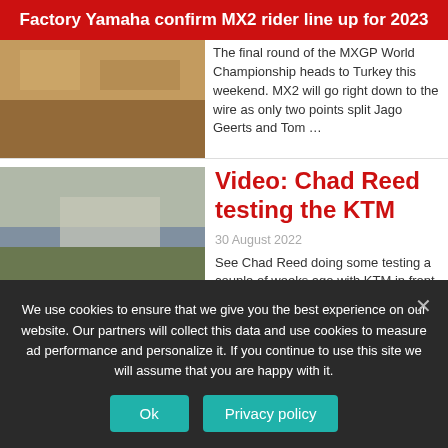Factory Yamaha confirm MX2 rider line up for 2023
[Figure (photo): Partial top image of dirt/terrain, cropped at top]
The final round of the MXGP World Championship heads to Turkey this weekend. MX2 will go right down to the wire as only two points split Jago Geerts and Tom …
[Figure (photo): Motocross riders on a dirt track with buildings in the background]
Video: Chad Reed testing the KTM
30 August 2022
See Chad Reed doing some testing a couple of weeks ago with KTM in front of Roger DeCoster with the World Supercross series coming up in October:
We use cookies to ensure that we give you the best experience on our website. Our partners will collect this data and use cookies to measure ad performance and personalize it. If you continue to use this site we will assume that you are happy with it.